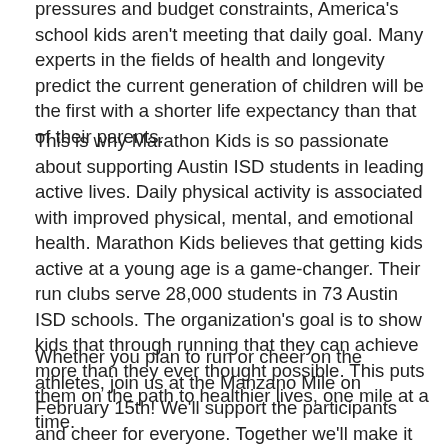pressures and budget constraints, America's school kids aren't meeting that daily goal. Many experts in the fields of health and longevity predict the current generation of children will be the first with a shorter life expectancy than that of their parents.
This is why Marathon Kids is so passionate about supporting Austin ISD students in leading active lives. Daily physical activity is associated with improved physical, mental, and emotional health. Marathon Kids believes that getting kids active at a young age is a game-changer. Their run clubs serve 28,000 students in 73 Austin ISD schools. The organization's goal is to show kids that through running that they can achieve more than they ever thought possible. This puts them on the path to healthier lives, one mile at a time.
Whether you plan to run or cheer on the athletes, join us at the Manzano Mile on February 15th! We'll support the participants and cheer for everyone. Together we'll make it possible for the next generation of young Austinites to live long, healthy lives.